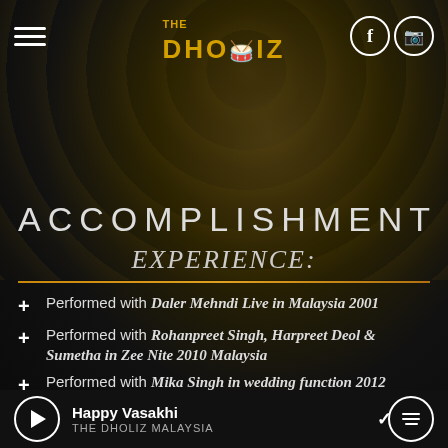[Figure (screenshot): Mobile app header with hamburger menu, The Dholiz Malaysia logo in gold/white, and Facebook/Instagram social icons in circular white borders on dark background]
ACCOMPLISHMENT
EXPERIENCE:
Performed with Daler Mehndi Live in Malaysia 2001
Performed with Rohanpreet Singh, Harpreet Deol & Sumetha in Zee Nite 2010 Malaysia
Performed with Mika Singh in wedding function 2012
Happy Vasakhi | THE DHOLIZ MALAYSIA